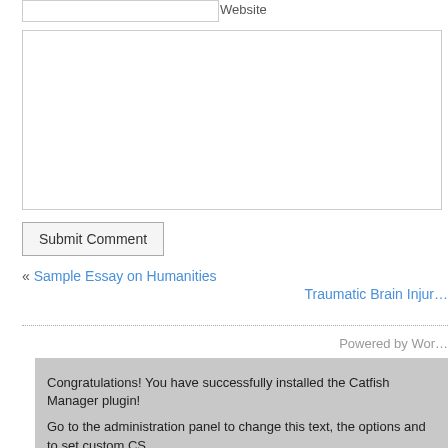Website
Submit Comment
« Sample Essay on Humanities
Traumatic Brain Injur…
Powered by Wor…
Congratulations! You have successfully installed the Catfish Manager plugin!
Go to the administration panel to change this text, the options and to set custom CS…